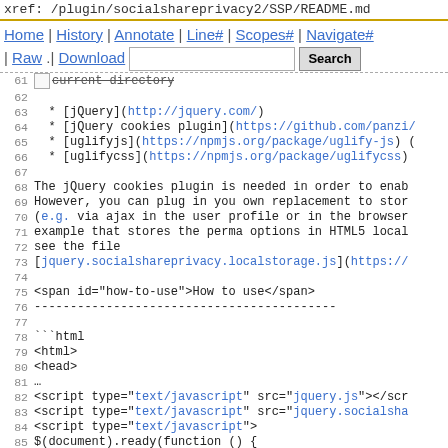xref: /plugin/socialshareprivacy2/SSP/README.md
Home | History | Annotate | Line# | Scopes# | Navigate#
| Raw .| Download   [Search]
61  [checkbox] current directory
62
63   * [jQuery](http://jquery.com/)
64   * [jQuery cookies plugin](https://github.com/panzi/
65   * [uglifyjs](https://npmjs.org/package/uglify-js) (
66   * [uglifycss](https://npmjs.org/package/uglifycss)
67
68  The jQuery cookies plugin is needed in order to enab
69  However, you can plug in you own replacement to stor
70  (e.g. via ajax in the user profile or in the browser
71  example that stores the perma options in HTML5 local
72  see the file
73  [jquery.socialshareprivacy.localstorage.js](https://
74
75  <span id="how-to-use">How to use</span>
76  ------------------------------------------
77
78  ```html
79  <html>
80  <head>
81  ...
82  <script type="text/javascript" src="jquery.js"></scr
83  <script type="text/javascript" src="jquery.socialsha
84  <script type="text/javascript">
85  $(document).ready(function () {